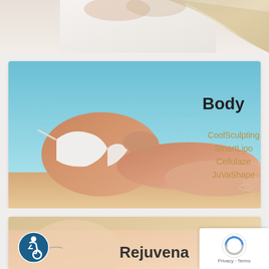[Figure (photo): Partial view of a person in white clothing with blonde hair, cropped at top of page]
[Figure (photo): Woman in white bikini lying on beach/poolside with turquoise water background. Text overlay shows 'Body' in black and treatment names CoolSculpting, SmartLipo, Cellulaze, JuVaShape in gold/tan color on the right side.]
[Figure (photo): Partial view of blonde woman's face, with accessibility icon overlay and partially visible text 'Rejuvena']